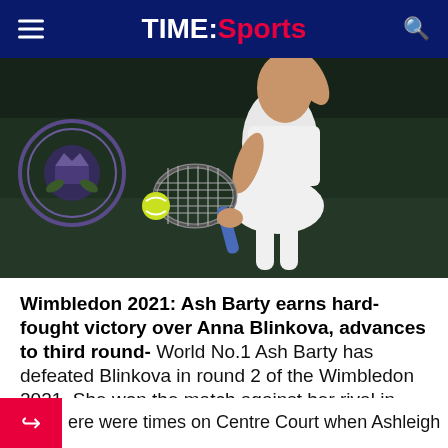TIME:Sports
[Figure (photo): Tennis player in white outfit hitting a backhand shot at Wimbledon, with the Wimbledon emblem visible in the background on a dark green court]
Wimbledon 2021: Ash Barty earns hard-fought victory over Anna Blinkova, advances to third round-
World No.1 Ash Barty has defeated Blinkova in round 2 of the Wimbledon 2021. She won the match against her rival in straight sets.
ere were times on Centre Court when Ashleigh